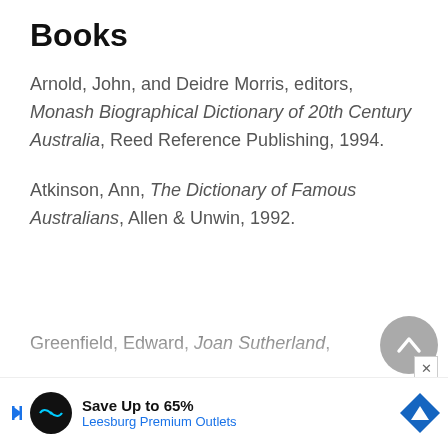Books
Arnold, John, and Deidre Morris, editors, Monash Biographical Dictionary of 20th Century Australia, Reed Reference Publishing, 1994.
Atkinson, Ann, The Dictionary of Famous Australians, Allen & Unwin, 1992.
Greenfield, Edward, Joan Sutherland,